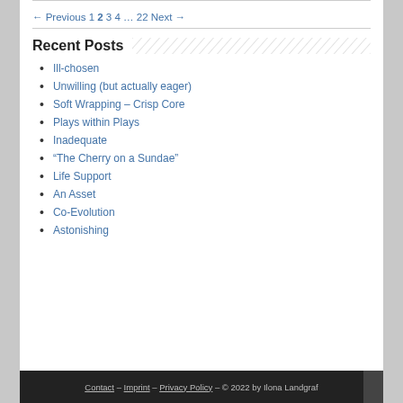Post navigation
← Previous 1 2 3 4 … 22 Next →
Recent Posts
Ill-chosen
Unwilling (but actually eager)
Soft Wrapping – Crisp Core
Plays within Plays
Inadequate
“The Cherry on a Sundae”
Life Support
An Asset
Co-Evolution
Astonishing
Contact – Imprint – Privacy Policy – © 2022 by Ilona Landgraf